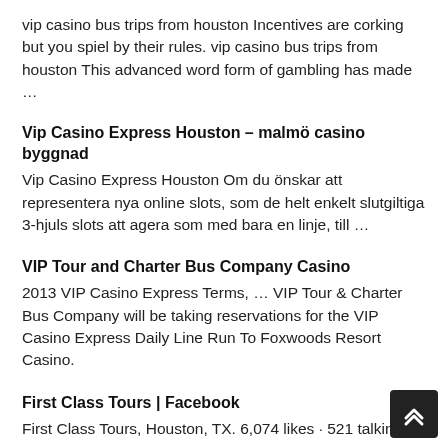vip casino bus trips from houston Incentives are corking but you spiel by their rules. vip casino bus trips from houston This advanced word form of gambling has made …
Vip Casino Express Houston – malmö casino byggnad
Vip Casino Express Houston Om du önskar att representera nya online slots, som de helt enkelt slutgiltiga 3-hjuls slots att agera som med bara en linje, till …
VIP Tour and Charter Bus Company Casino
2013 VIP Casino Express Terms, … VIP Tour & Charter Bus Company will be taking reservations for the VIP Casino Express Daily Line Run To Foxwoods Resort Casino.
First Class Tours | Facebook
First Class Tours, Houston, TX. 6,074 likes · 521 talking